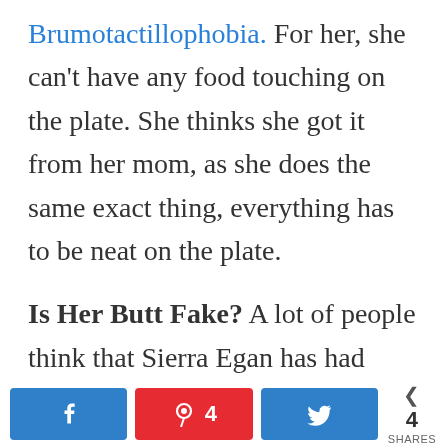Brumotactillophobia. For her, she can't have any food touching on the plate. She thinks she got it from her mom, as she does the same exact thing, everything has to be neat on the plate.
Is Her Butt Fake? A lot of people think that Sierra Egan has had plastic surgery on her butt. In a Youtube Q &
[Figure (infographic): Social share bar with Facebook, Pinterest (4), Twitter buttons and share count of 4]